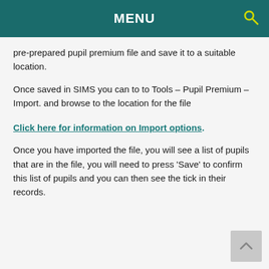MENU
pre-prepared pupil premium file and save it to a suitable location.
Once saved in SIMS you can to to Tools – Pupil Premium – Import. and browse to the location for the file
Click here for information on Import options.
Once you have imported the file, you will see a list of pupils that are in the file, you will need to press 'Save' to confirm this list of pupils and you can then see the tick in their records.